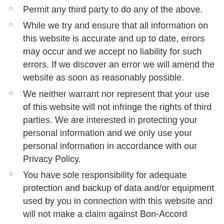Permit any third party to do any of the above.
While we try and ensure that all information on this website is accurate and up to date, errors may occur and we accept no liability for such errors. If we discover an error we will amend the website as soon as reasonably possible.
We neither warrant nor represent that your use of this website will not infringe the rights of third parties. We are interested in protecting your personal information and we only use your personal information in accordance with our Privacy Policy.
You have sole responsibility for adequate protection and backup of data and/or equipment used by you in connection with this website and will not make a claim against Bon-Accord Training Lt. for lost data, re-run time,